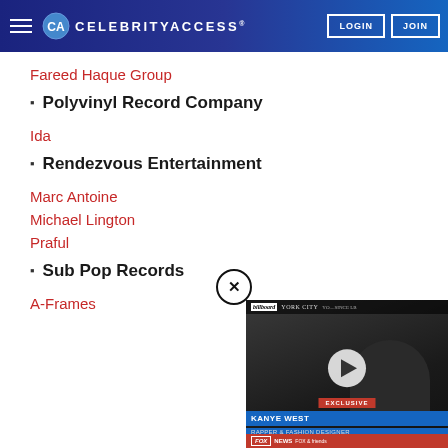CELEBRITYACCESS. LOGIN JOIN
Fareed Haque Group
Polyvinyl Record Company
Ida
Rendezvous Entertainment
Marc Antoine
Michael Lington
Praful
Sub Pop Records
A-Frames
[Figure (screenshot): Video overlay showing a Fox News clip with chyron reading KANYE WEST RAPPER & FASHION DESIGNER, with a Billboard exclusive tag and a play button on a dark hooded figure background.]